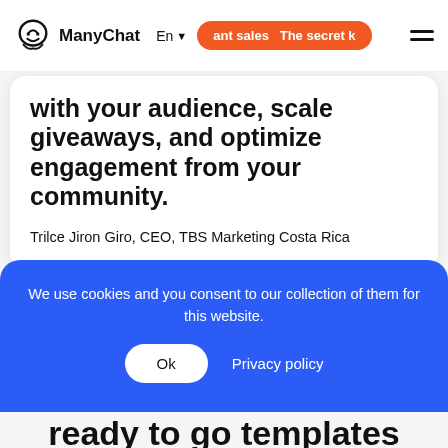ManyChat  En  ant sales  The secret
with your audience, scale giveaways, and optimize engagement from your community.
Trilce Jiron Giro, CEO, TBS Marketing Costa Rica
Previous
Next
We use cookies and you consent to our collection of them for this website.
Ok  Privacy policy
ready to go templates